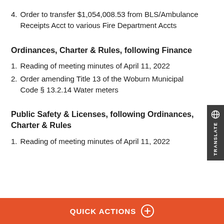4. Order to transfer $1,054,008.53 from BLS/Ambulance Receipts Acct to various Fire Department Accts
Ordinances, Charter & Rules, following Finance
1. Reading of meeting minutes of April 11, 2022
2. Order amending Title 13 of the Woburn Municipal Code § 13.2.14 Water meters
Public Safety & Licenses, following Ordinances, Charter & Rules
1. Reading of meeting minutes of April 11, 2022
QUICK ACTIONS